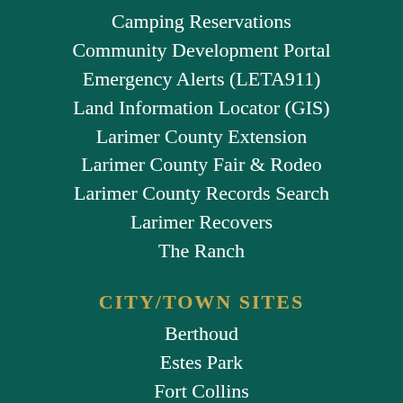Camping Reservations
Community Development Portal
Emergency Alerts (LETA911)
Land Information Locator (GIS)
Larimer County Extension
Larimer County Fair & Rodeo
Larimer County Records Search
Larimer Recovers
The Ranch
CITY/TOWN SITES
Berthoud
Estes Park
Fort Collins
Johnstown
Loveland
Timnath